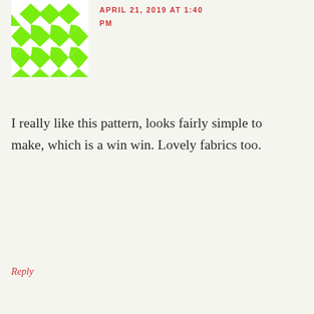[Figure (illustration): Green geometric quilt-pattern avatar icon made of stars and triangles]
APRIL 21, 2019 AT 1:40 PM
I really like this pattern, looks fairly simple to make, which is a win win. Lovely fabrics too.
Reply
[Figure (illustration): Magenta/pink geometric quilt-pattern avatar icon made of diamonds and squares]
stephanie s. says
APRIL 21, 2019 AT 3:21 PM
[Figure (infographic): Advertisement banner: Back To School Essentials - Leesburg Premium Outlets]